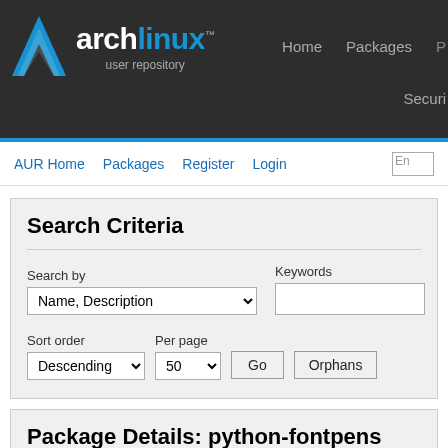[Figure (logo): Arch Linux AUR logo with blue triangle icon and text 'archlinux user repository']
Home  Packages  Securi...
AUR Home  Packages  Register  Login
Search Criteria
Search by: Name, Description  Keywords:
Sort order: Descending  Per page: 50  Go  Orphans
Package Details: python-fontpens 0.2.4-3